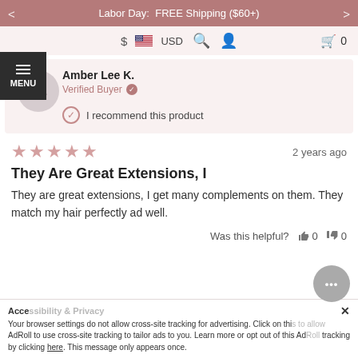Labor Day:  FREE Shipping ($60+)
[Figure (screenshot): Navigation bar with $ USD currency selector, search icon, user icon, and cart icon with 0 items]
[Figure (screenshot): MENU hamburger button on left side]
Amber Lee K.
Verified Buyer
I recommend this product
[Figure (other): 4 out of 5 stars rating in pink/rose color]
2 years ago
They Are Great Extensions, I
They are great extensions, I get many complements on them. They match my hair perfectly ad well.
Was this helpful?  👍 0  👎 0
Acce... x
Your browser settings do not allow cross-site tracking for advertising. Click on this to allow AdRoll to use cross-site tracking to tailor ads to you. Learn more or opt out of this AdRoll tracking by clicking here. This message only appears once.